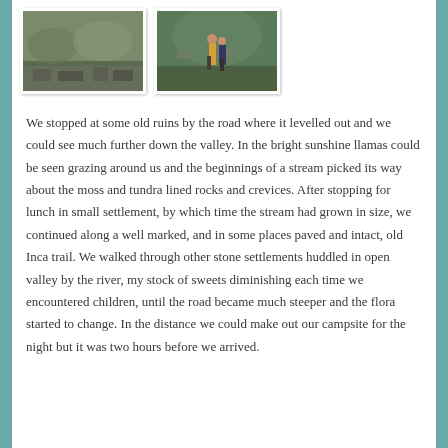[Figure (photo): Landscape photo showing rocky terrain with moss and vegetation]
[Figure (photo): Photo of two children walking on a path with stone ruins in background]
We stopped at some old ruins by the road where it levelled out and we could see much further down the valley. In the bright sunshine llamas could be seen grazing around us and the beginnings of a stream picked its way about the moss and tundra lined rocks and crevices. After stopping for lunch in small settlement, by which time the stream had grown in size, we continued along a well marked, and in some places paved and intact, old Inca trail. We walked through other stone settlements huddled in open valley by the river, my stock of sweets diminishing each time we encountered children, until the road became much steeper and the flora started to change. In the distance we could make out our campsite for the night but it was two hours before we arrived.